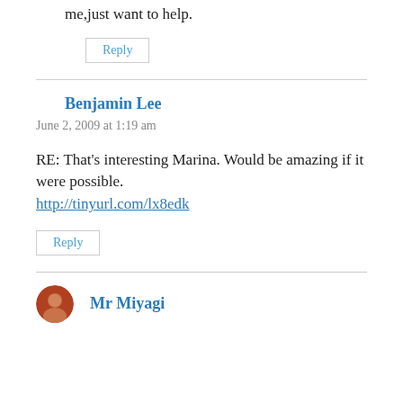me,just want to help.
Reply
Benjamin Lee
June 2, 2009 at 1:19 am
RE: That’s interesting Marina. Would be amazing if it were possible. http://tinyurl.com/lx8edk
Reply
Mr Miyagi